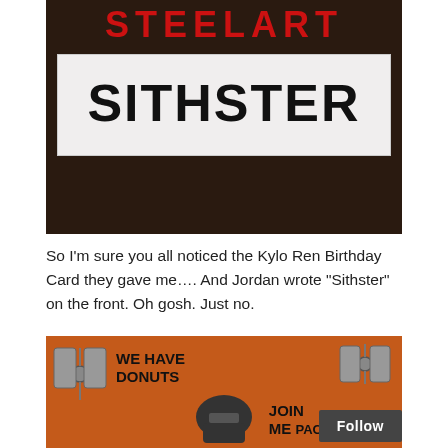[Figure (photo): Photo of a dark wooden surface with a white name card on it. The top shows partial red bold text 'STEEL ART' or similar. The white card has 'SITHSTER' written in large black handwritten-style letters.]
So I'm sure you all noticed the Kylo Ren Birthday Card they gave me…. And Jordan wrote “Sithster” on the front. Oh gosh. Just no.
[Figure (photo): Photo of an orange Star Wars birthday card with TIE fighters on the sides. Handwritten text reads 'WE HAVE DONUTS' on the left and 'JOIN ME' / 'PAC' on the right. A Kylo Ren helmet silhouette is visible at the bottom. A 'Follow' button is in the bottom right corner.]